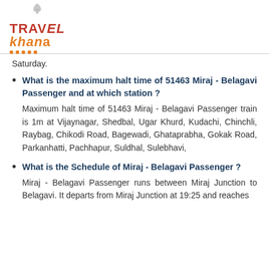Travel Khana
Saturday.
What is the maximum halt time of 51463 Miraj - Belagavi Passenger and at which station? Maximum halt time of 51463 Miraj - Belagavi Passenger train is 1m at Vijaynagar, Shedbal, Ugar Khurd, Kudachi, Chinchli, Raybag, Chikodi Road, Bagewadi, Ghataprabha, Gokak Road, Parkanhatti, Pachhapur, Suldhal, Sulebhavi,
What is the Schedule of Miraj - Belagavi Passenger? Miraj - Belagavi Passenger runs between Miraj Junction to Belagavi. It departs from Miraj Junction at 19:25 and reaches